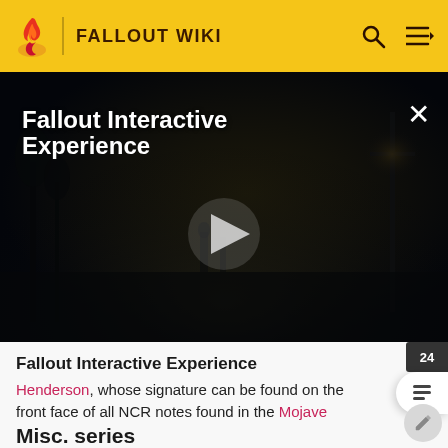FALLOUT WIKI
[Figure (screenshot): Dark post-apocalyptic video scene with trees and a street lamp, titled 'Fallout Interactive Experience' with a play button overlay and X close button]
Fallout Interactive Experience
Henderson, whose signature can be found on the front face of all NCR notes found in the Mojave Wasteland.[22]
Misc. series